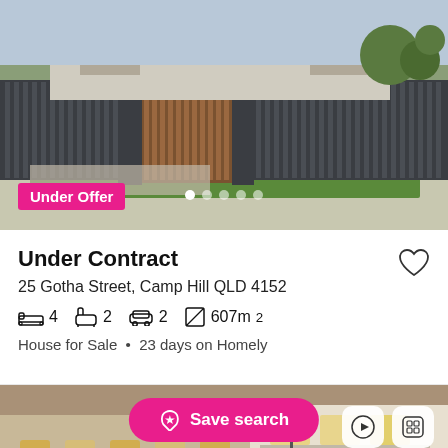[Figure (photo): Exterior photo of a modern house with dark grey fence and wooden gate, number 25, green grass lawn in front.]
Under Offer
Under Contract
25 Gotha Street, Camp Hill QLD 4152
4  2  2  607m²
House for Sale  •  23 days on Homely
[Figure (photo): Exterior photo of a large residential building at dusk/sunset with balconies and arched windows, warm interior lights visible.]
Save search